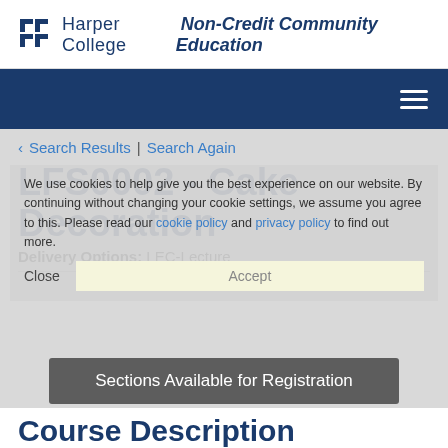Harper College Non-Credit Community Education
Search Results | Search Again
LFS0002 - Cake Decoration
Delivery Options: LEC-Lecture
We use cookies to help give you the best experience on our website. By continuing without changing your cookie settings, we assume you agree to this. Please read our cookie policy and privacy policy to find out more.
Close   Accept
Sections Available for Registration
Course Description